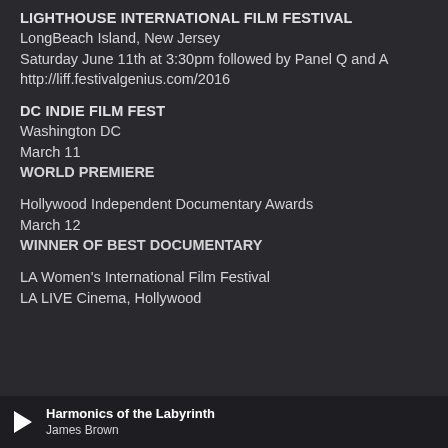LIGHTHOUSE INTERNATIONAL FILM FESTIVAL
LongBeach Island, New Jersey
Saturday June 11th at 3:30pm followed by Panel Q and A http://liff.festivalgenius.com/2016
DC INDIE FILM FEST
Washington DC
March 11
WORLD PREMIERE
Hollywood Independent Documentary Awards
March 12
WINNER OF BEST DOCUMENTARY
LA Women's International Film Festival
LA LIVE Cinema, Hollywood
Harmonics of the Labyrinth
James Brown